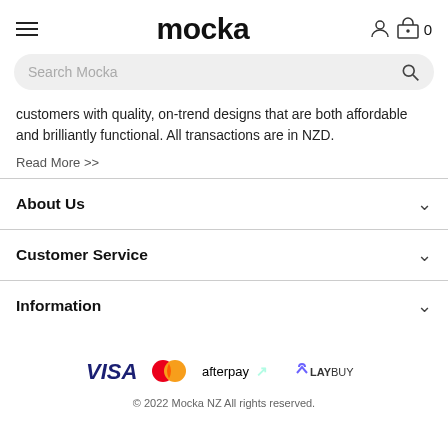mocka
customers with quality, on-trend designs that are both affordable and brilliantly functional. All transactions are in NZD.
Read More >>
About Us
Customer Service
Information
[Figure (logo): Payment method logos: VISA, Mastercard, Afterpay, Laybuy]
© 2022 Mocka NZ All rights reserved.